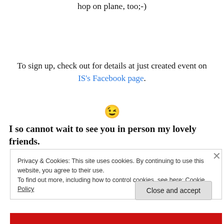hop on plane, too;-)
To sign up, check out for details at just created event on IS's Facebook page.
[Figure (other): Winking face emoji 😉]
I so cannot wait to see you in person my lovely friends.
Privacy & Cookies: This site uses cookies. By continuing to use this website, you agree to their use.
To find out more, including how to control cookies, see here: Cookie Policy
Close and accept